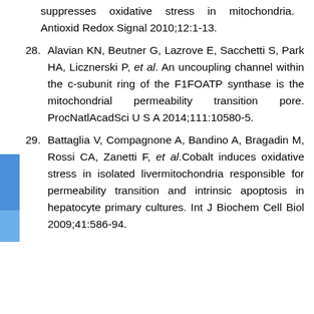suppresses oxidative stress in mitochondria. Antioxid Redox Signal 2010;12:1-13.
28. Alavian KN, Beutner G, Lazrove E, Sacchetti S, Park HA, Licznerski P, et al. An uncoupling channel within the c-subunit ring of the F1FOATP synthase is the mitochondrial permeability transition pore. ProcNatlAcadSci U S A 2014;111:10580-5.
29. Battaglia V, Compagnone A, Bandino A, Bragadin M, Rossi CA, Zanetti F, et al.Cobalt induces oxidative stress in isolated livermitochondria responsible for permeability transition and intrinsic apoptosis in hepatocyte primary cultures. Int J Biochem Cell Biol 2009;41:586-94.